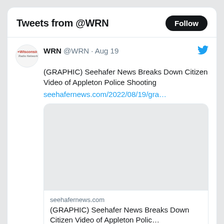Tweets from @WRN
WRN @WRN · Aug 19
(GRAPHIC) Seehafer News Breaks Down Citizen Video of Appleton Police Shooting
seehafernews.com/2022/08/19/gra…
[Figure (screenshot): Blank/grey image placeholder inside a linked card preview]
seehafernews.com
(GRAPHIC) Seehafer News Breaks Down Citizen Video of Appleton Polic…